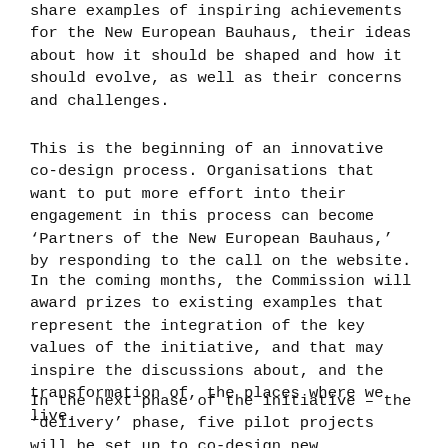share examples of inspiring achievements for the New European Bauhaus, their ideas about how it should be shaped and how it should evolve, as well as their concerns and challenges.
This is the beginning of an innovative co-design process. Organisations that want to put more effort into their engagement in this process can become ‘Partners of the New European Bauhaus,’ by responding to the call on the website.
In the coming months, the Commission will award prizes to existing examples that represent the integration of the key values of the initiative, and that may inspire the discussions about, and the transformation of, the places where we live.
In the next phase of the initiative – the ‘delivery’ phase, five pilot projects will be set up to co-design new sustainable and inclusive solutions with style. The objective of the third phase – ‘dissemination’, is